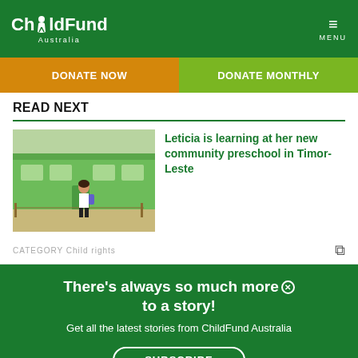ChildFund Australia — MENU
DONATE NOW | DONATE MONTHLY
READ NEXT
[Figure (photo): A young girl in school uniform standing in front of a bright green community building/preschool]
Leticia is learning at her new community preschool in Timor-Leste
CATEGORY Child rights
There's always so much more to a story! Get all the latest stories from ChildFund Australia
SUBSCRIBE